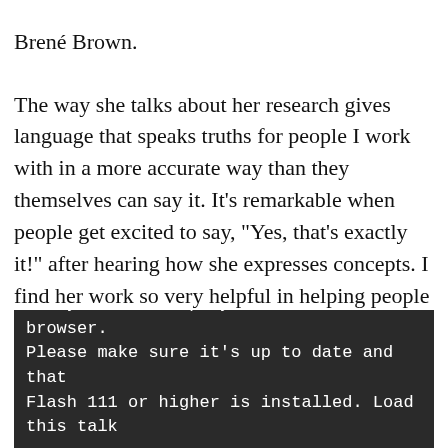Brené Brown.
The way she talks about her research gives language that speaks truths for people I work with in a more accurate way than they themselves can say it.  It's remarkable when people get excited to say, "Yes, that's exactly it!" after hearing how she expresses concepts. I find her work so very helpful in helping people move forward in their lives and this TEDx talk introduced me to her.
[Figure (screenshot): Dark video player showing error message: Sorry: we can't play video on this browser. Please make sure it's up to date and that Flash 111 or higher is installed. Load this talk]